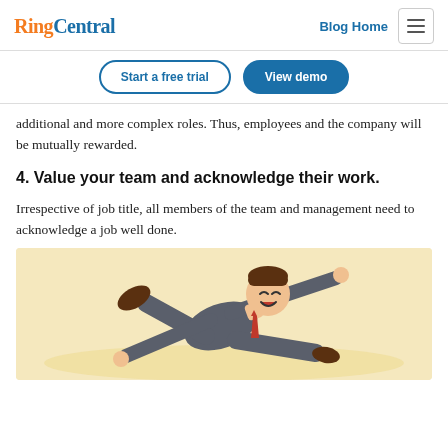RingCentral — Blog Home
Start a free trial | View demo
additional and more complex roles. Thus, employees and the company will be mutually rewarded.
4. Value your team and acknowledge their work.
Irrespective of job title, all members of the team and management need to acknowledge a job well done.
[Figure (illustration): Cartoon illustration of a businessman in a dark suit lying back joyfully with arms and legs spread, laughing, wearing a red tie, on a warm beige/yellow background.]